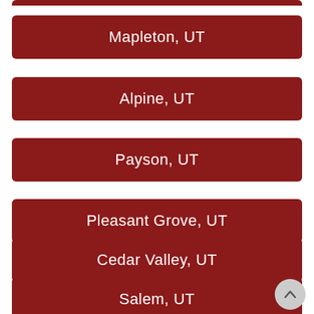Mapleton, UT
Alpine, UT
Payson, UT
Pleasant Grove, UT
Cedar Valley, UT
Salem, UT